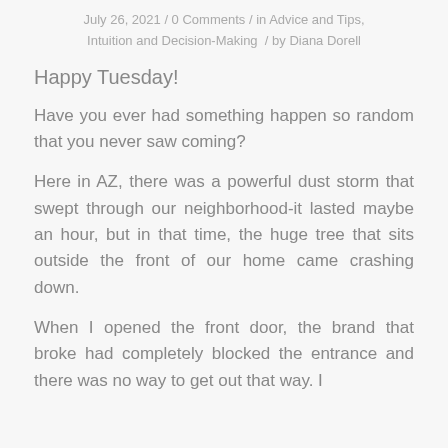July 26, 2021 / 0 Comments / in Advice and Tips, Intuition and Decision-Making / by Diana Dorell
Happy Tuesday!
Have you ever had something happen so random that you never saw coming?
Here in AZ, there was a powerful dust storm that swept through our neighborhood-it lasted maybe an hour, but in that time, the huge tree that sits outside the front of our home came crashing down.
When I opened the front door, the brand that broke had completely blocked the entrance and there was no way to get out that way. I